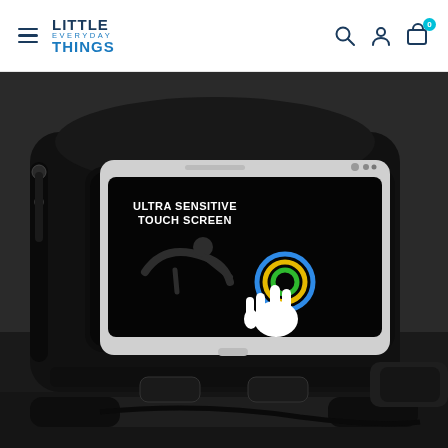Little Everyday Things — navigation header with hamburger menu, logo, search, account, and cart icons
[Figure (photo): Product photo of a black bicycle handlebar phone mount bag with a transparent touch-screen window, holding a smartphone displaying 'ULTRA SENSITIVE TOUCH SCREEN' text with a hand/touch icon graphic. The bag is mounted on bicycle handlebars.]